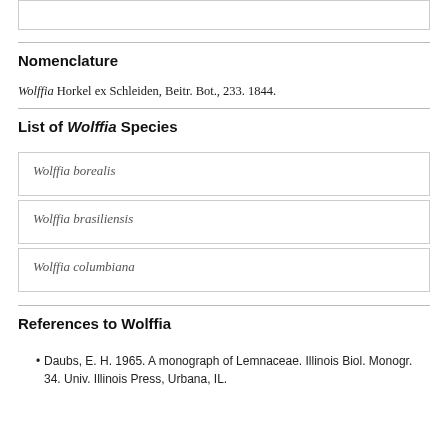Nomenclature
Wolffia Horkel ex Schleiden, Beitr. Bot., 233. 1844.
List of Wolffia Species
Wolffia borealis
Wolffia brasiliensis
Wolffia columbiana
References to Wolffia
Daubs, E. H. 1965. A monograph of Lemnaceae. Illinois Biol. Monogr. 34. Univ. Illinois Press, Urbana, IL.